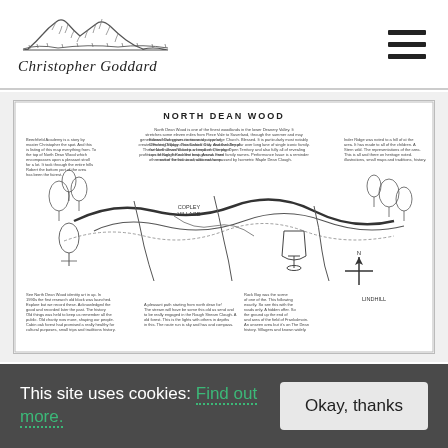[Figure (logo): Christopher Goddard logo with mountain sketch illustration and handwritten-style name]
[Figure (map): North Dean Wood illustrated map with handwritten annotations, showing paths, villages, trees, and points of interest]
This site uses cookies: Find out more.
Okay, thanks